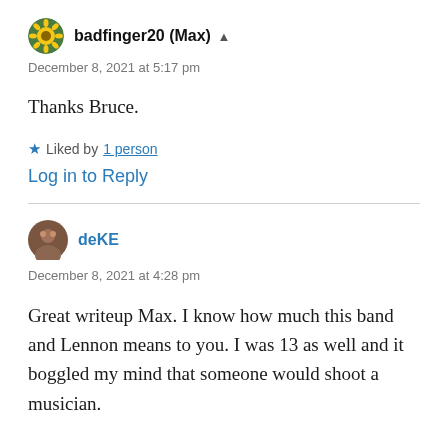badfinger20 (Max)
December 8, 2021 at 5:17 pm
Thanks Bruce.
Liked by 1 person
Log in to Reply
deKE
December 8, 2021 at 4:28 pm
Great writeup Max. I know how much this band and Lennon means to you. I was 13 as well and it boggled my mind that someone would shoot a musician.